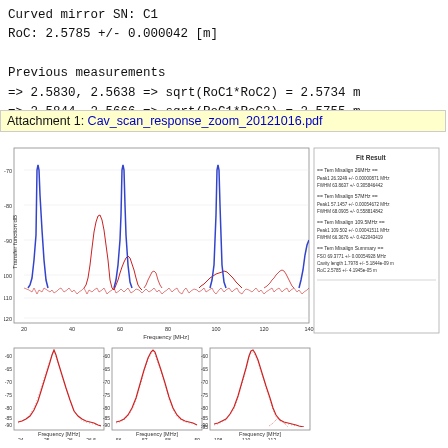Curved mirror SN: C1
RoC: 2.5785 +/- 0.000042 [m]

Previous measurements
=> 2.5830, 2.5638 => sqrt(RoC1*RoC2) = 2.5734 m
=> 2.5844, 2.5666 => sqrt(RoC1*RoC2) = 2.5755 m
Attachment 1: Cav_scan_response_zoom_20121016.pdf
[Figure (continuous-plot): Top panel: Transfer function (dB) vs Frequency (MHz) from 20 to 150 MHz. Shows blue peaks (TEM00 modes) at ~26, 57, 109 MHz and multiple red peaks (higher order modes). Bottom three panels: zoomed views around 26 MHz (24-26.5 range), 57 MHz (55-59 range), and 109 MHz (107-112 range), each showing a Lorentzian resonance peak in red. Right panel shows Fit Result text with numerical parameters.]